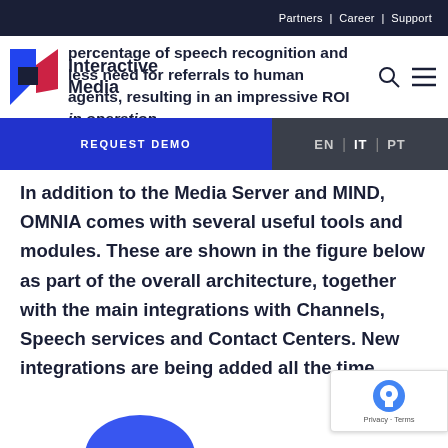Partners | Career | Support
percentage of speech recognition and less need for referrals to human agents, resulting in an impressive ROI in operation.
Interactive Media
REQUEST DEMO
EN | IT | PT
In addition to the Media Server and MIND, OMNIA comes with several useful tools and modules. These are shown in the figure below as part of the overall architecture, together with the main integrations with Channels, Speech services and Contact Centers. New integrations are being added all the time.